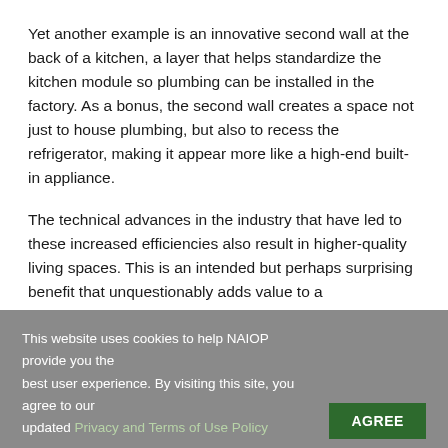Yet another example is an innovative second wall at the back of a kitchen, a layer that helps standardize the kitchen module so plumbing can be installed in the factory. As a bonus, the second wall creates a space not just to house plumbing, but also to recess the refrigerator, making it appear more like a high-end built-in appliance.
The technical advances in the industry that have led to these increased efficiencies also result in higher-quality living spaces. This is an intended but perhaps surprising benefit that unquestionably adds value to a development. That value is reflected in rent rates, market share, leasing velocity and tenant retention.
This website uses cookies to help NAIOP provide you the best user experience. By visiting this site, you agree to our updated Privacy and Terms of Use Policy